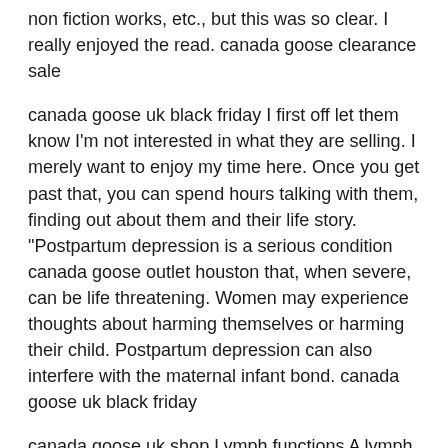non fiction works, etc., but this was so clear. I really enjoyed the read. canada goose clearance sale
canada goose uk black friday I first off let them know I'm not interested in what they are selling. I merely want to enjoy my time here. Once you get past that, you can spend hours talking with them, finding out about them and their life story. "Postpartum depression is a serious condition canada goose outlet houston that, when severe, can be life threatening. Women may experience thoughts about harming themselves or harming their child. Postpartum depression can also interfere with the maternal infant bond. canada goose uk black friday
canada goose uk shop Lymph functions A lymph function is a defence that removes bacteria and foreign materials preventing infection and helps remove excess fluids. A lymph vessel is something that has valves along its length to prevent backflow of the fluid being carried to the nodes. Produce